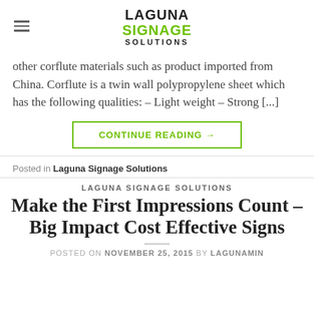LAGUNA SIGNAGE SOLUTIONS
other corflute materials such as product imported from China. Corflute is a twin wall polypropylene sheet which has the following qualities: – Light weight – Strong [...]
CONTINUE READING →
Posted in Laguna Signage Solutions
LAGUNA SIGNAGE SOLUTIONS
Make the First Impressions Count – Big Impact Cost Effective Signs
POSTED ON NOVEMBER 25, 2015 BY LAGUNAMIN